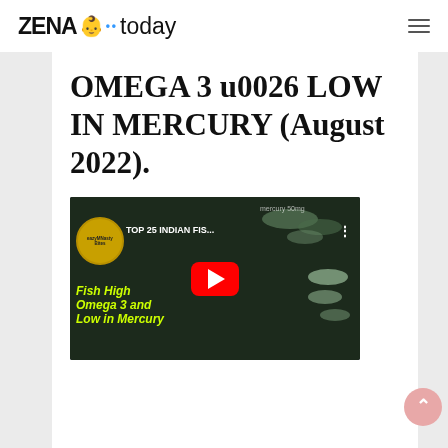ZENA today
OMEGA 3 u0026 LOW IN MERCURY (August 2022).
[Figure (screenshot): YouTube video thumbnail for 'TOP 25 INDIAN FIS...' showing fish with text 'Fish High Omega 3 and Low in Mercury' in yellow-green on dark background, with red YouTube play button and channel badge 'eazyMNasty Bites']